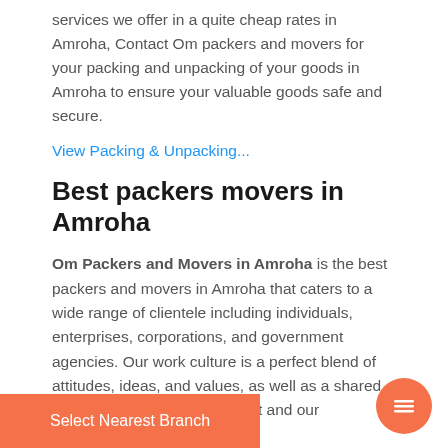services we offer in a quite cheap rates in Amroha, Contact Om packers and movers for your packing and unpacking of your goods in Amroha to ensure your valuable goods safe and secure.
View Packing & Unpacking...
Best packers movers in Amroha
Om Packers and Movers in Amroha is the best packers and movers in Amroha that caters to a wide range of clientele including individuals, enterprises, corporations, and government agencies. Our work culture is a perfect blend of attitudes, ideas, and values, as well as a shared mission between management and our employees.
Select Nearest Branch